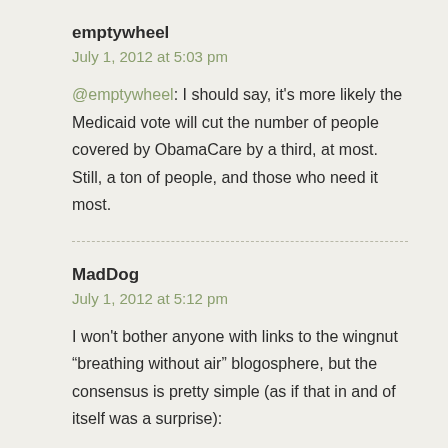emptywheel
July 1, 2012 at 5:03 pm
@emptywheel: I should say, it's more likely the Medicaid vote will cut the number of people covered by ObamaCare by a third, at most. Still, a ton of people, and those who need it most.
MadDog
July 1, 2012 at 5:12 pm
I won't bother anyone with links to the wingnut “breathing without air” blogosphere, but the consensus is pretty simple (as if that in and of itself was a surprise):